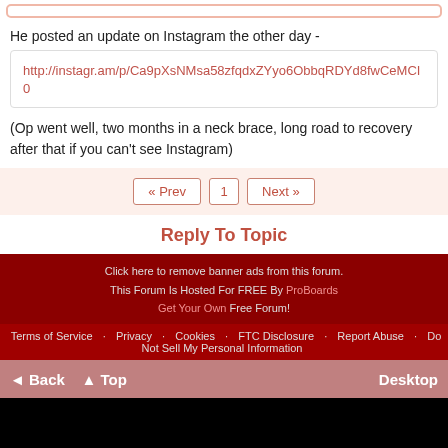He posted an update on Instagram the other day -
http://instagr.am/p/Ca9pXsNMsa58zfqdxZYyo6ObbqRDYd8fwCeMCI0
(Op went well, two months in a neck brace, long road to recovery after that if you can't see Instagram)
« Prev  1  Next »
Reply To Topic
Click here to remove banner ads from this forum. This Forum Is Hosted For FREE By ProBoards Get Your Own Free Forum! Terms of Service · Privacy · Cookies · FTC Disclosure · Report Abuse · Do Not Sell My Personal Information
◄ Back  ▲ Top  Desktop